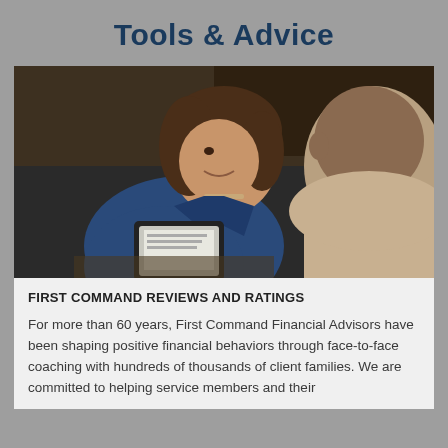Tools & Advice
[Figure (photo): A female financial advisor smiling and showing a tablet to a male client seated across from her in an office setting.]
FIRST COMMAND REVIEWS AND RATINGS
For more than 60 years, First Command Financial Advisors have been shaping positive financial behaviors through face-to-face coaching with hundreds of thousands of client families. We are committed to helping service members and their